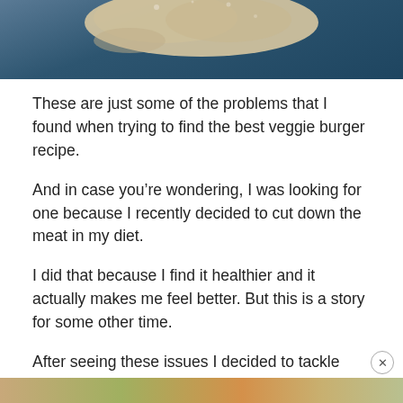[Figure (photo): Top portion of a food photo showing what appears to be bread dough or a flatbread on a dark blue surface]
These are just some of the problems that I found when trying to find the best veggie burger recipe.
And in case you’re wondering, I was looking for one because I recently decided to cut down the meat in my diet.
I did that because I find it healthier and it actually makes me feel better. But this is a story for some other time.
After seeing these issues I decided to tackle them heads on.
[Figure (photo): Bottom strip of a food photo, partially visible at the bottom of the page]